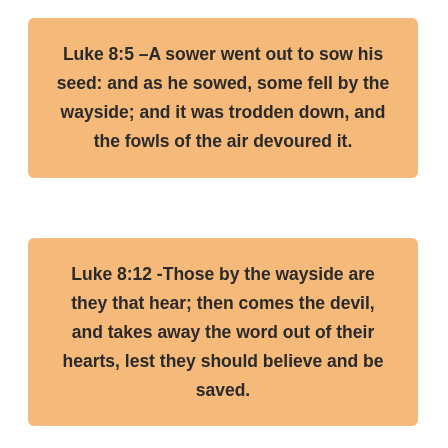Luke 8:5 –A sower went out to sow his seed: and as he sowed, some fell by the wayside; and it was trodden down, and the fowls of the air devoured it.
Luke 8:12 -Those by the wayside are they that hear; then comes the devil, and takes away the word out of their hearts, lest they should believe and be saved.